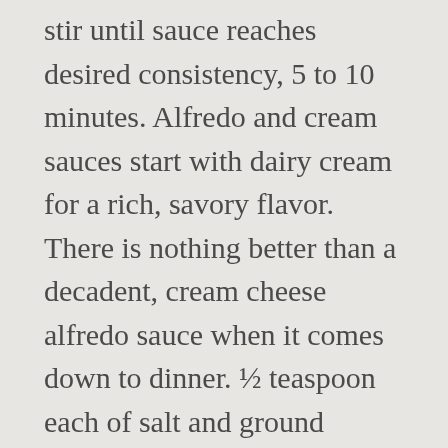stir until sauce reaches desired consistency, 5 to 10 minutes. Alfredo and cream sauces start with dairy cream for a rich, savory flavor. There is nothing better than a decadent, cream cheese alfredo sauce when it comes down to dinner. ½ teaspoon each of salt and ground pepper. You could use butter and flour to make a roux, add milk, and cook to thicken. You could make it with other cheese or without cheese at all, adding whatever other ingredients you like but I don't think you could rightfully call it Alfredo! Also this method of emulsifying the sauce is more difficult than just ignoring the butter and water and melting your cheese directly into heavy cream and with the quantity of butter